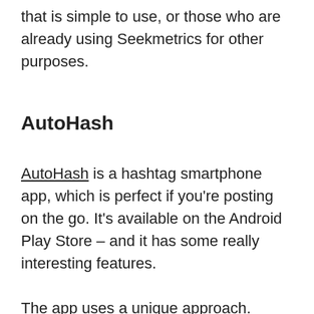that is simple to use, or those who are already using Seekmetrics for other purposes.
AutoHash
AutoHash is a hashtag smartphone app, which is perfect if you're posting on the go. It's available on the Android Play Store – and it has some really interesting features.
The app uses a unique approach. Here's how it works: upload a photo into the app, and it will provide the most relevant hashtags that you should use, based on photo recognition technology.
Essentially, Autohash recognizes the different elements in your photos and then generates related hashtags; for example, if it